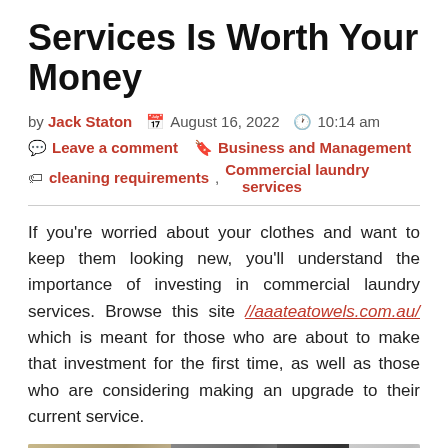Services Is Worth Your Money
by Jack Staton   August 16, 2022   10:14 am
Leave a comment   Business and Management
cleaning requirements, Commercial laundry services
If you're worried about your clothes and want to keep them looking new, you'll understand the importance of investing in commercial laundry services. Browse this site //aaateatowels.com.au/ which is meant for those who are about to make that investment for the first time, as well as those who are considering making an upgrade to their current service.
[Figure (photo): A partial image showing laundry/industrial equipment at the bottom of the page]